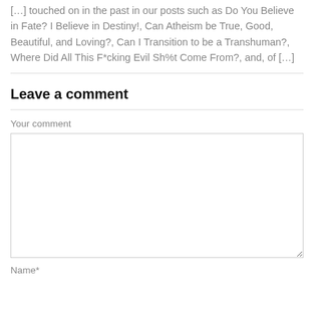[…] touched on in the past in our posts such as Do You Believe in Fate? I Believe in Destiny!, Can Atheism be True, Good, Beautiful, and Loving?, Can I Transition to be a Transhuman?, Where Did All This F*cking Evil Sh%t Come From?, and, of […]
Leave a comment
Your comment
Name*